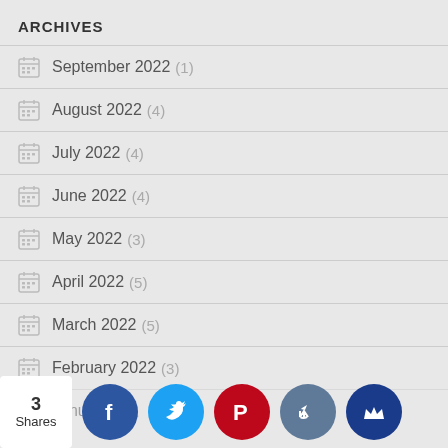ARCHIVES
September 2022 (1)
August 2022 (4)
July 2022 (4)
June 2022 (4)
May 2022 (3)
April 2022 (5)
March 2022 (5)
February 2022 (3)
January 2...
[Figure (infographic): Social share bar with 3 Shares count and icons for Facebook, Twitter, Pinterest, Like, and Crown]